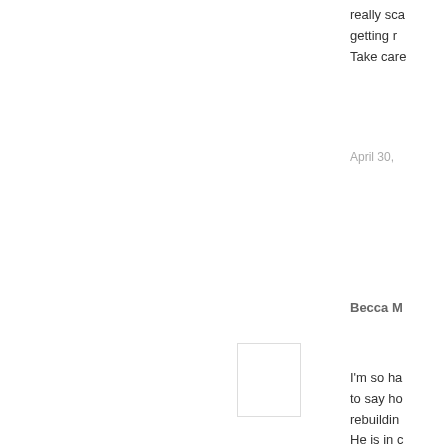really sca getting r Take care
April 30,
Becca M
I'm so ha to say ho rebuildin He is in c
April 30,
Kait said.
So happy
April 30,
Hall Arou